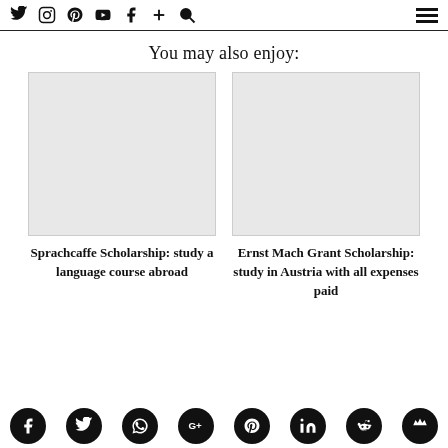Social media nav icons and hamburger menu
You may also enjoy:
Sprachcaffe Scholarship: study a language course abroad
Ernst Mach Grant Scholarship: study in Austria with all expenses paid
Social share icons: Facebook, Twitter, WhatsApp, Google+, Pinterest, LinkedIn, Reddit, Mix